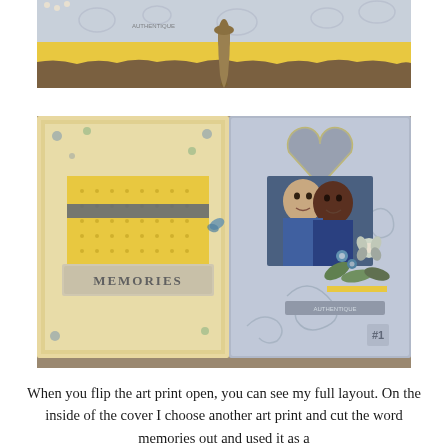[Figure (photo): Top photo showing a scrapbook cover with yellow band, blue/grey patterned paper, decorative metal pendant/zipper pull, and pearl embellishments on a wood surface.]
[Figure (photo): Scrapbook layout opened flat showing two panels: left panel with yellow polka dot and floral patterned papers and a 'MEMORIES' label; right panel with grey/blue glitter heart shape containing a photo of two smiling teenagers (a girl and a boy), decorated with blue and white flowers and leaves. Authentique branding visible.]
When you flip the art print open, you can see my full layout. On the inside of the cover I choose another art print and cut the word memories out and used it as a